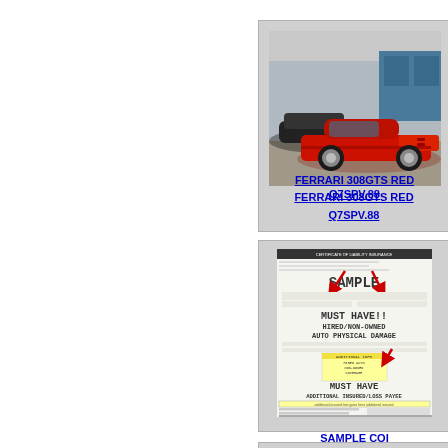[Figure (photo): Red Ferrari 308GTS sports car parked in a lot with a black car behind it and a building in background]
FERRARI 308GTS RED Q7SPV.88
[Figure (photo): Sample Certificate of Liability Insurance document with annotations: SAMPLE, MUST HAVE!! HIRED/NON-OWNED AUTO PHYSICAL DAMAGE, MUST HAVE ADDITIONAL INSURED/LOSS PAYEE, with red arrows pointing to key fields]
SAMPLE COI